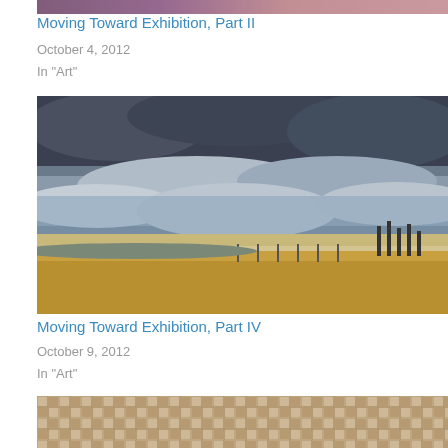[Figure (photo): Partial top of an artwork photo, cropped at top of page]
Moving Toward Exhibition, Part II
October 4, 2012
In "Art"
[Figure (photo): Landscape photo showing dramatic cloudy sky over golden fields with industrial structures on the horizon]
Moving Toward Exhibition, Part IV
October 9, 2012
In "Art"
[Figure (photo): Close-up photo of woven beige/tan textile fabric showing grid pattern]